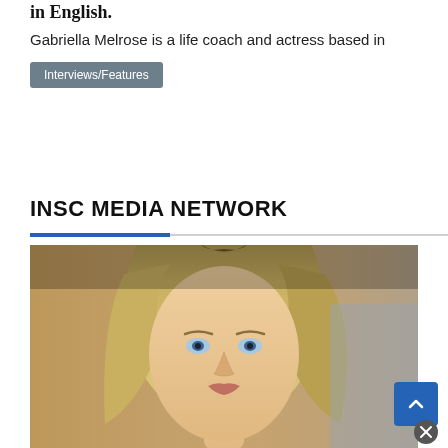in English.
Gabriella Melrose is a life coach and actress based in
Interviews/Features
INSC MEDIA NETWORK
[Figure (photo): Portrait photo of a blonde woman with blue eyes, overlaid with author metadata: @TheInscriberMag, June 30, 2021, 0 comments]
Scroll to top button (chevron up) and close button